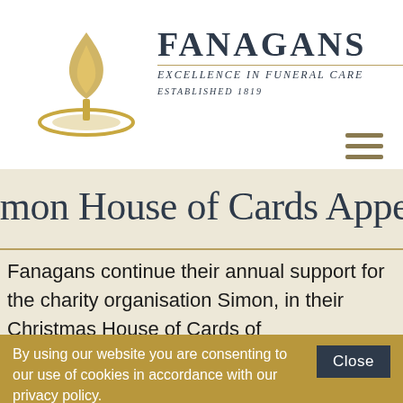[Figure (logo): Fanagans funeral care logo — flame/candle above a gold oval dish, with company name FANAGANS, tagline EXCELLENCE IN FUNERAL CARE, and ESTABLISHED 1819]
Simon House of Cards Appeal 2017
Fanagans continue their annual support for the charity organisation Simon, in their Christmas House of Cards of
By using our website you are consenting to our use of cookies in accordance with our privacy policy.